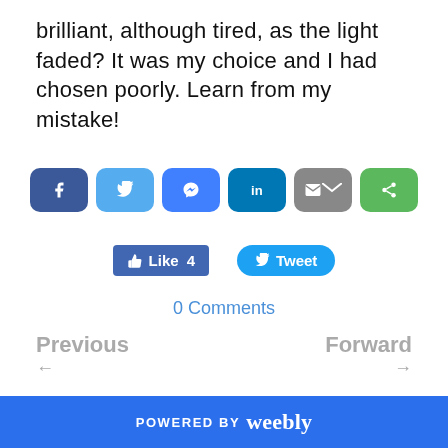brilliant, although tired, as the light faded? It was my choice and I had chosen poorly. Learn from my mistake!
[Figure (infographic): Row of six social share buttons: Facebook, Twitter, Messenger, LinkedIn, Email, Share]
[Figure (infographic): Facebook Like button showing count 4, and Twitter Tweet button]
0 Comments
Previous ←
Forward →
POWERED BY weebly